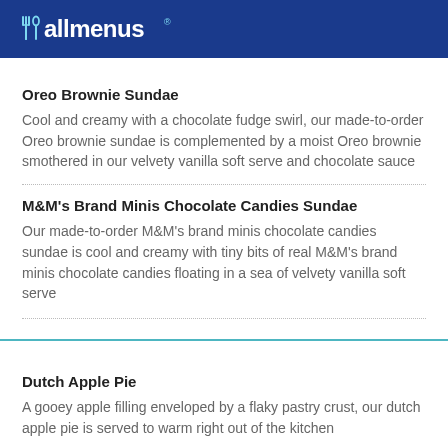allmenus
Oreo Brownie Sundae
Cool and creamy with a chocolate fudge swirl, our made-to-order Oreo brownie sundae is complemented by a moist Oreo brownie smothered in our velvety vanilla soft serve and chocolate sauce
M&M's Brand Minis Chocolate Candies Sundae
Our made-to-order M&M's brand minis chocolate candies sundae is cool and creamy with tiny bits of real M&M's brand minis chocolate candies floating in a sea of velvety vanilla soft serve
Dutch Apple Pie
A gooey apple filling enveloped by a flaky pastry crust, our dutch apple pie is served to warm right out of the kitchen